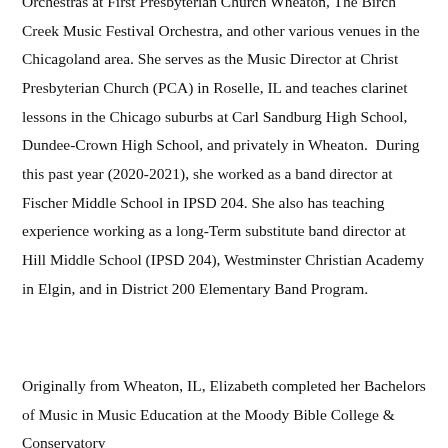Orchestras at First Presbyterian Church Wheaton, The Birch Creek Music Festival Orchestra, and other various venues in the Chicagoland area. She serves as the Music Director at Christ Presbyterian Church (PCA) in Roselle, IL and teaches clarinet lessons in the Chicago suburbs at Carl Sandburg High School, Dundee-Crown High School, and privately in Wheaton.  During this past year (2020-2021), she worked as a band director at Fischer Middle School in IPSD 204. She also has teaching experience working as a long-Term substitute band director at Hill Middle School (IPSD 204), Westminster Christian Academy in Elgin, and in District 200 Elementary Band Program.
Originally from Wheaton, IL, Elizabeth completed her Bachelors of Music in Music Education at the Moody Bible College & Conservatory